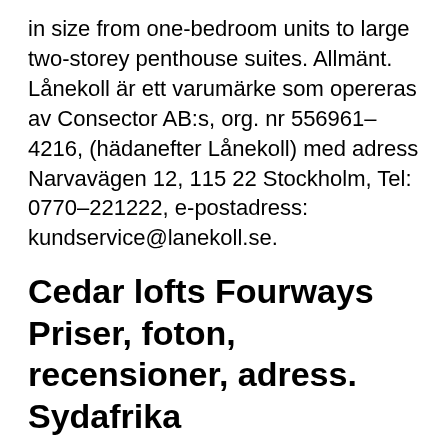in size from one-bedroom units to large two-storey penthouse suites. Allmänt. Lånekoll är ett varumärke som opereras av Consector AB:s, org. nr 556961–4216, (hädanefter Lånekoll) med adress Narvavägen 12, 115 22 Stockholm, Tel: 0770–221222, e-postadress: kundservice@lanekoll.se.
Cedar lofts Fourways Priser, foton, recensioner, adress. Sydafrika
Floor plans starting at $913. Check availability now! Discover spacious floorplans and great amenities in this apartment home community located in charming Lebanon, Oregon. Check for available units at Linden Lane Apartments in Cuyahoga Falls,